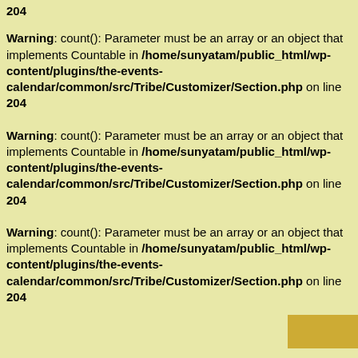204
Warning: count(): Parameter must be an array or an object that implements Countable in /home/sunyatam/public_html/wp-content/plugins/the-events-calendar/common/src/Tribe/Customizer/Section.php on line 204
Warning: count(): Parameter must be an array or an object that implements Countable in /home/sunyatam/public_html/wp-content/plugins/the-events-calendar/common/src/Tribe/Customizer/Section.php on line 204
Warning: count(): Parameter must be an array or an object that implements Countable in /home/sunyatam/public_html/wp-content/plugins/the-events-calendar/common/src/Tribe/Customizer/Section.php on line 204